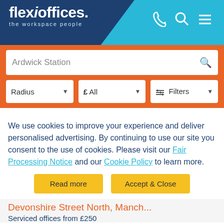[Figure (logo): Flexioffices logo - 'flexioffices. the workspace people' in white on dark blue header with cyan right side and phone, search, menu icons]
Ardwick Station
Radius
£ All
Filters
We use cookies to improve your experience and deliver personalised advertising. By continuing to use our site you consent to the use of cookies. Please visit our Fair Processing Notice and our Cookie Policy to learn more.
Read more
Accept & Close
Devonshire Street North, Manch...
Serviced offices from £250